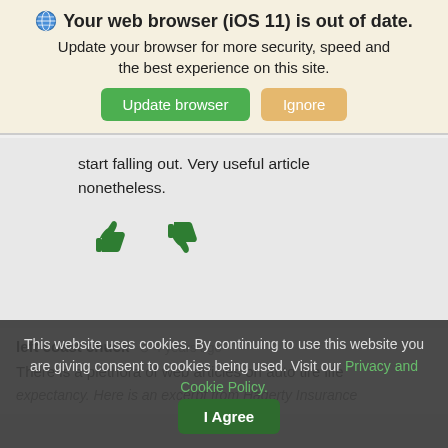🌐 Your web browser (iOS 11) is out of date.
Update your browser for more security, speed and the best experience on this site.
start falling out. Very useful article nonetheless.
[Figure (illustration): Thumbs up and thumbs down icons in green]
left coast chuck  4 years ago
There is a plethora of web articles on auto tire life expectancy. Here is an excerpt from Hagerty Insurance
This website uses cookies. By continuing to use this website you are giving consent to cookies being used. Visit our Privacy and Cookie Policy.